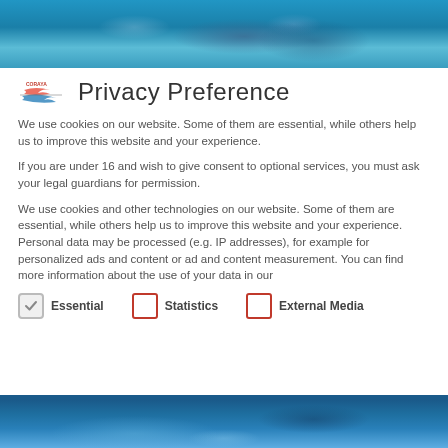[Figure (photo): Underwater coral reef scene with fish, teal and blue tones, top banner image]
Privacy Preference
We use cookies on our website. Some of them are essential, while others help us to improve this website and your experience.
If you are under 16 and wish to give consent to optional services, you must ask your legal guardians for permission.
We use cookies and other technologies on our website. Some of them are essential, while others help us to improve this website and your experience. Personal data may be processed (e.g. IP addresses), for example for personalized ads and content or ad and content measurement. You can find more information about the use of your data in our
Essential (checked)
Statistics (unchecked)
External Media (unchecked)
[Figure (photo): Underwater coral reef scene with blue and teal tones, bottom banner image]